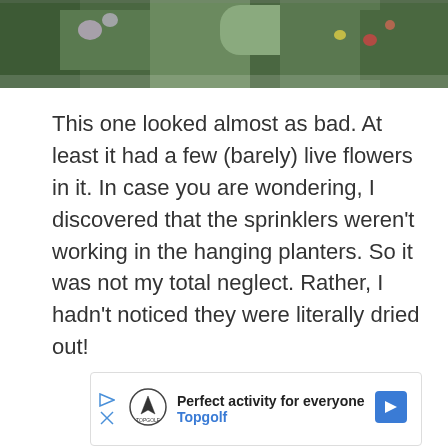[Figure (photo): Photo of hanging planter with flowers and green foliage, partially visible at top of page]
This one looked almost as bad. At least it had a few (barely) live flowers in it. In case you are wondering, I discovered that the sprinklers weren't working in the hanging planters. So it was not my total neglect. Rather, I hadn't noticed they were literally dried out!
[Figure (infographic): Advertisement banner for Topgolf: 'Perfect activity for everyone' with Topgolf logo, play button, blue arrow navigation icon, and sound/volume icon]